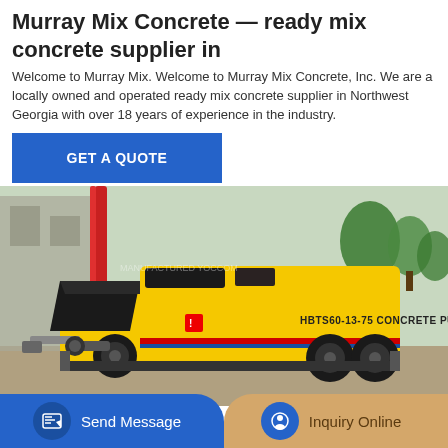Murray Mix Concrete — ready mix concrete supplier in
Welcome to Murray Mix. Welcome to Murray Mix Concrete, Inc. We are a locally owned and operated ready mix concrete supplier in Northwest Georgia with over 18 years of experience in the industry.
[Figure (other): Blue button labeled GET A QUOTE]
[Figure (photo): Yellow HBTS60-13-75 concrete pump machine on a trailer at a construction site, with a red crane boom visible in the background and trees]
[Figure (other): Bottom bar with two buttons: Send Message (blue) and Inquiry Online (tan/gold)]